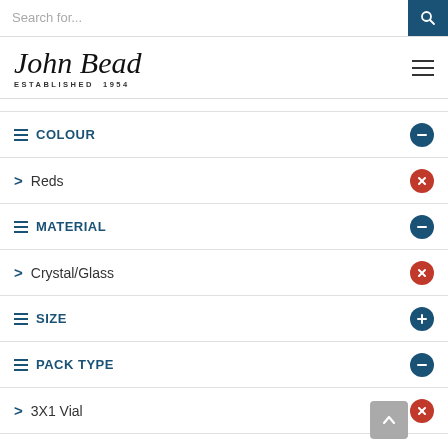Search for...
[Figure (logo): John Bead logo with script text and ESTABLISHED 1954]
COLOUR (collapse/minus)
> Reds (remove/x)
MATERIAL (collapse/minus)
> Crystal/Glass (remove/x)
SIZE (expand/plus)
PACK TYPE (collapse/minus)
> 3X1 Vial (remove/x)